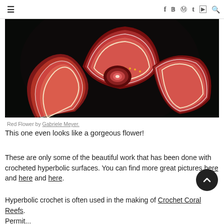≡  f  twitter  pinterest  t  youtube  🔍
[Figure (photo): Crocheted hyperbolic surface resembling a red flower by Gabriele Meyer, photographed against a dark background. The piece shows layered petal-like forms with red, pink, orange and dark striping.]
Red Flower by Gabriele Meyer.
This one even looks like a gorgeous flower!
These are only some of the beautiful work that has been done with crocheted hyperbolic surfaces. You can find more great pictures here and here and here.
Hyperbolic crochet is often used in the making of Crochet Coral Reefs.
Permit...